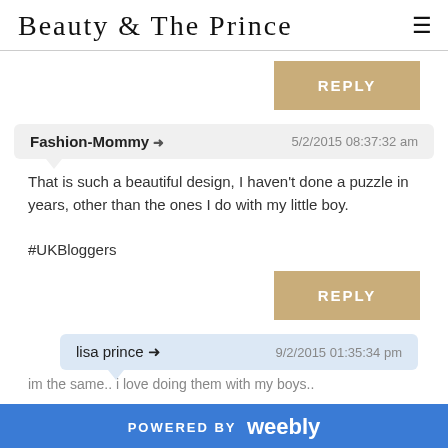Beauty & The Prince
REPLY
Fashion-Mommy → 5/2/2015 08:37:32 am
That is such a beautiful design, I haven't done a puzzle in years, other than the ones I do with my little boy.

#UKBloggers
REPLY
lisa prince → 9/2/2015 01:35:34 pm
im the same.. i love doing them with my boys..
POWERED BY weebly